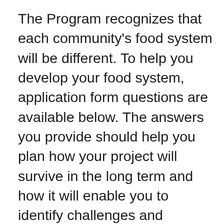The Program recognizes that each community's food system will be different. To help you develop your food system, application form questions are available below. The answers you provide should help you plan how your project will survive in the long term and how it will enable you to identify challenges and opportunities for creating a self-sustaining food system. You may not be able to address all aspects in the current and short-term columns; however, you should have a long-term plan in place to achieve all sustainability aspects. If any aspect is not applicable to your